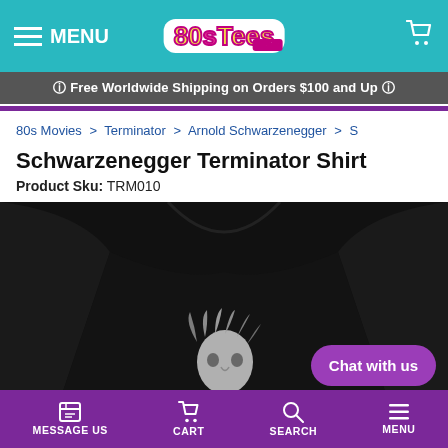MENU | 80sTees.com | [cart]
🛈 Free Worldwide Shipping on Orders $100 and Up 🛈
80s Movies > Terminator > Arnold Schwarzenegger > S
Schwarzenegger Terminator Shirt
Product Sku: TRM010
[Figure (photo): Black Schwarzenegger Terminator t-shirt shown from the front, with a graphic print near the bottom center showing a figure]
Chat with us
MESSAGE US | CART | SEARCH | MENU